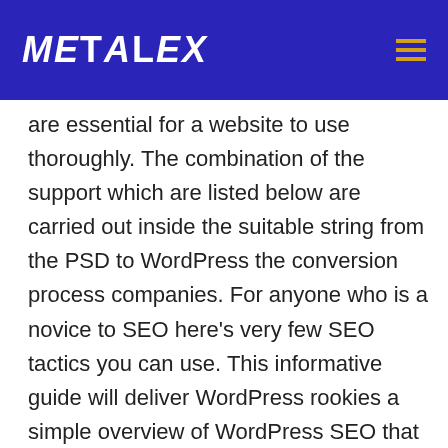METALEX
are essential for a website to use thoroughly. The combination of the support which are listed below are carried out inside the suitable string from the PSD to WordPress the conversion process companies. For anyone who is a novice to SEO here’s very few SEO tactics you can use. This informative guide will deliver WordPress rookies a simple overview of WordPress SEO that will help your internet-site get aquired online. You should use RSS to promote portable web pages, and you won’t commonly come across these nourishes being a designed-in aspect such as WordPress. There are numerous alternative ways as